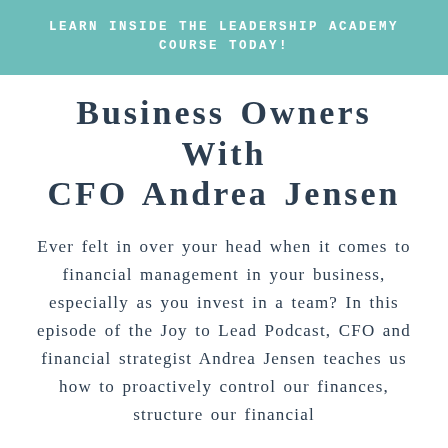LEARN INSIDE THE LEADERSHIP ACADEMY COURSE TODAY!
Business Owners With CFO Andrea Jensen
Ever felt in over your head when it comes to financial management in your business, especially as you invest in a team? In this episode of the Joy to Lead Podcast, CFO and financial strategist Andrea Jensen teaches us how to proactively control our finances, structure our financial
read now